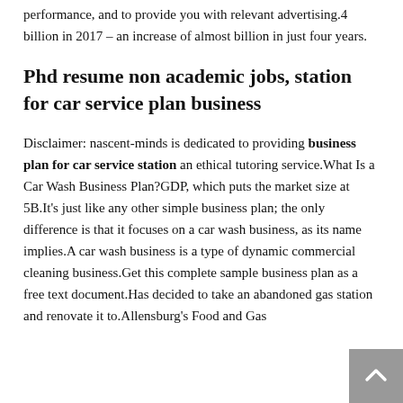performance, and to provide you with relevant advertising.4 billion in 2017 – an increase of almost billion in just four years.
Phd resume non academic jobs, station for car service plan business
Disclaimer: nascent-minds is dedicated to providing business plan for car service station an ethical tutoring service.What Is a Car Wash Business Plan?GDP, which puts the market size at 5B.It's just like any other simple business plan; the only difference is that it focuses on a car wash business, as its name implies.A car wash business is a type of dynamic commercial cleaning business.Get this complete sample business plan as a free text document.Has decided to take an abandoned gas station and renovate it to.Allensburg's Food and Gas